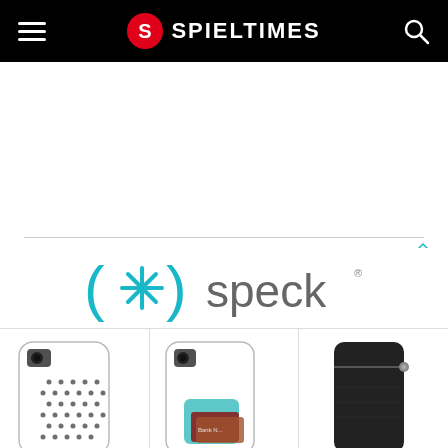SPIELTIMES
[Figure (other): White advertisement space area]
[Figure (logo): Speck brand logo advertisement - teal asterisk symbol with parentheses and 'speck' text]
[Figure (photo): Three Speck phone cases: clear case with dot pattern, clear case with teal card wallet, black zipper sleeve case]